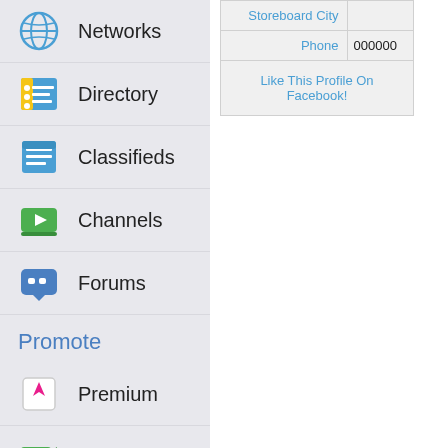Networks
Directory
Classifieds
Channels
Forums
Promote
Premium
Videos
Blogs
Images
| Field | Value |
| --- | --- |
| Storeboard City |  |
| Phone | 000000 |
| Like This Profile On Facebook! |  |